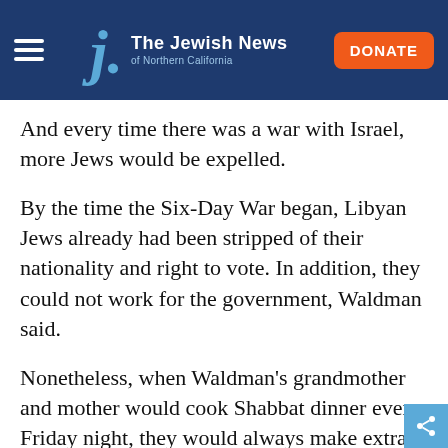The Jewish News of Northern California
And every time there was a war with Israel, more Jews would be expelled.
By the time the Six-Day War began, Libyan Jews already had been stripped of their nationality and right to vote. In addition, they could not work for the government, Waldman said.
Nonetheless, when Waldman’s grandmother and mother would cook Shabbat dinner every Friday night, they would always make extra for their neighbor Ibrahim.
“During these times, we were able to build a